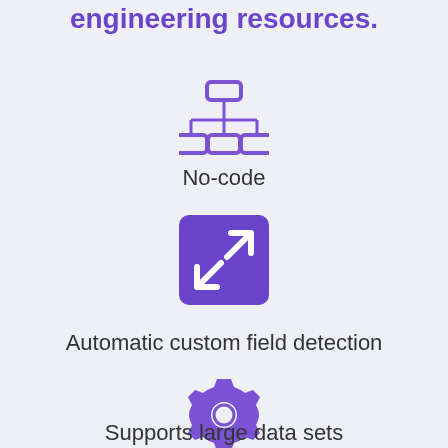engineering resources.
[Figure (illustration): Network/hierarchy icon in purple outline style showing a top node connected to three child nodes below]
No-code
[Figure (illustration): Purple filled square icon with two diagonal arrows pointing outward (expand/resize icon)]
Automatic custom field detection
[Figure (illustration): Purple gear/settings icon]
Supports large data sets